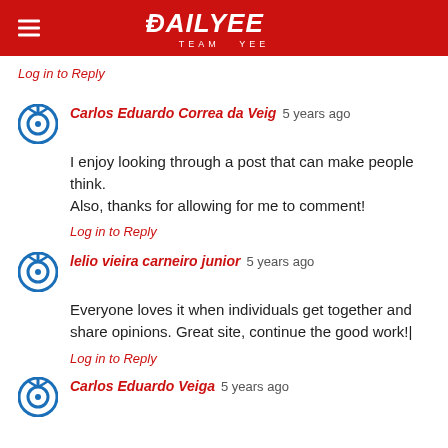DAILYEE TEAM YEE
Log in to Reply
Carlos Eduardo Correa da Veig 5 years ago
I enjoy looking through a post that can make people think.
Also, thanks for allowing for me to comment!
Log in to Reply
lelio vieira carneiro junior 5 years ago
Everyone loves it when individuals get together and share opinions. Great site, continue the good work!
Log in to Reply
Carlos Eduardo Veiga 5 years ago